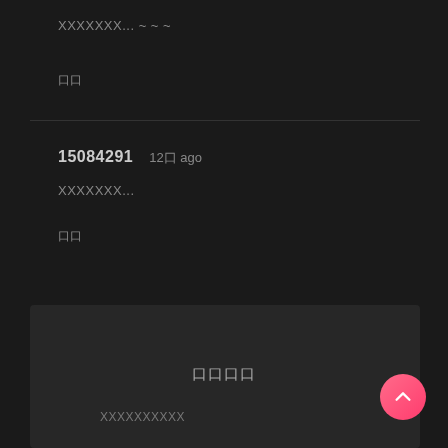XXXXXXX... ~ ~ ~
口口
15084291   12口 ago
XXXXXXX...
口口
口口口口
XXXXXXXXXX